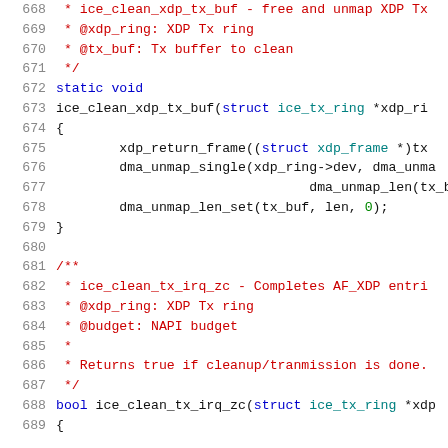[Figure (screenshot): Source code listing showing C code for ice_clean_xdp_tx_buf and ice_clean_tx_irq_zc functions, lines 668-689, with syntax highlighting in a dark-background IDE style.]